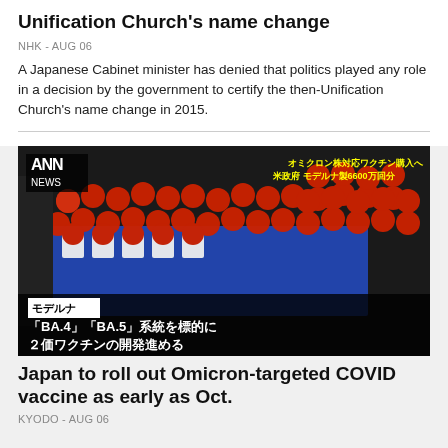Unification Church's name change
NHK - AUG 06
A Japanese Cabinet minister has denied that politics played any role in a decision by the government to certify the then-Unification Church's name change in 2015.
[Figure (photo): ANN NEWS broadcast image showing rows of red-capped vaccine vials (Moderna) on a production conveyor. Text overlay in Japanese reads: 'BA.4' 'BA.5' keito wo hyouteki ni 2-ka wakuchin no kaihatsu susumeru (Developing bivalent vaccine targeting BA.4/BA.5 strains). Top right text in yellow: Omicron strain countermeasure vaccine purchase, US Moderna 66 million doses.]
Japan to roll out Omicron-targeted COVID vaccine as early as Oct.
KYODO - AUG 06